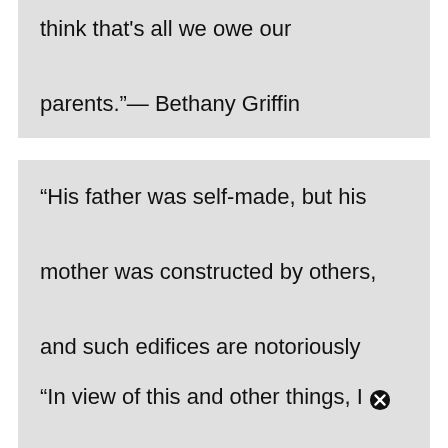think that’s all we owe our parents.”— Bethany Griffin
“His father was self-made, but his mother was constructed by others, and such edifices are notoriously fragile.”— Margaret Atwood
“In view of this and other things, I demand forgiveness for being so